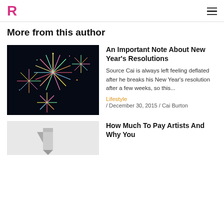R (logo) / hamburger menu
More from this author
[Figure (photo): Colorful fireworks bursting against a dark night sky]
An Important Note About New Year's Resolutions
Source Cai is always left feeling deflated after he breaks his New Year's resolution after a few weeks, so this...
Lifestyle / December 30, 2015 / Cai Burton
[Figure (photo): Partially visible image, appears to be a silver/grey object]
How Much To Pay Artists And Why You